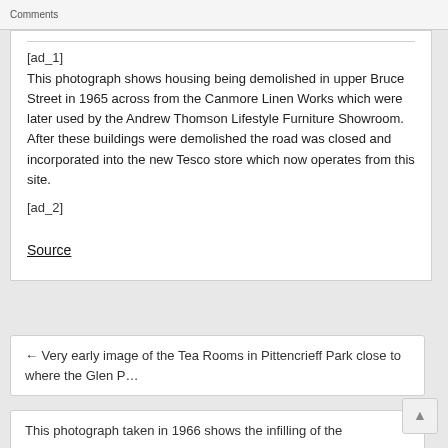Comments
[ad_1]
This photograph shows housing being demolished in upper Bruce Street in 1965 across from the Canmore Linen Works which were later used by the Andrew Thomson Lifestyle Furniture Showroom. After these buildings were demolished the road was closed and incorporated into the new Tesco store which now operates from this site.
[ad_2]
Source
← Very early image of the Tea Rooms in Pittencrieff Park close to where the Glen P…
This photograph taken in 1966 shows the infilling of the